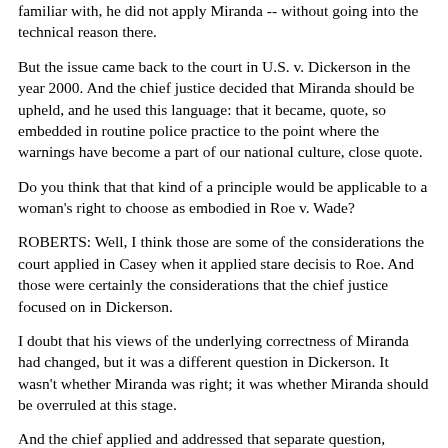familiar with, he did not apply Miranda -- without going into the technical reason there.
But the issue came back to the court in U.S. v. Dickerson in the year 2000. And the chief justice decided that Miranda should be upheld, and he used this language: that it became, quote, so embedded in routine police practice to the point where the warnings have become a part of our national culture, close quote.
Do you think that that kind of a principle would be applicable to a woman's right to choose as embodied in Roe v. Wade?
ROBERTS: Well, I think those are some of the considerations the court applied in Casey when it applied stare decisis to Roe. And those were certainly the considerations that the chief justice focused on in Dickerson.
I doubt that his views of the underlying correctness of Miranda had changed, but it was a different question in Dickerson. It wasn't whether Miranda was right; it was whether Miranda should be overruled at this stage.
And the chief applied and addressed that separate question, distinct from any of his views on whether Miranda was correct or not when decided. And that's the approach the court follows under principles of stare decisis...